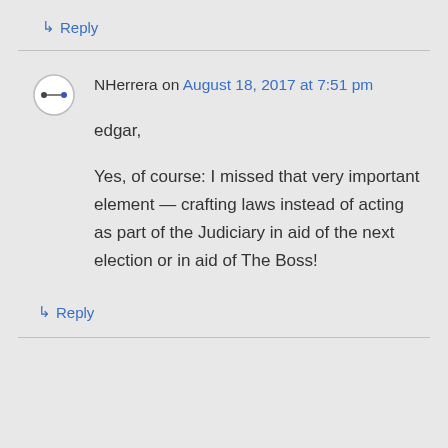↳ Reply
NHerrera on August 18, 2017 at 7:51 pm
edgar,

Yes, of course: I missed that very important element — crafting laws instead of acting as part of the Judiciary in aid of the next election or in aid of The Boss!
↳ Reply